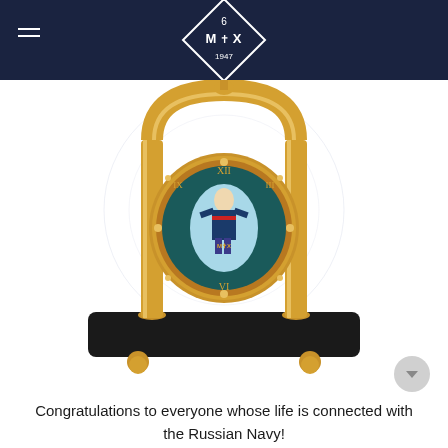MIX 1947 — navigation header with logo
[Figure (photo): A decorative golden mantel clock with an arch frame supported by two gold columns, a circular clock face with a painted portrait of a naval officer (Peter the Great) on a dark teal background with Roman numerals, mounted on a black rectangular base with gold ball feet.]
Congratulations to everyone whose life is connected with the Russian Navy!